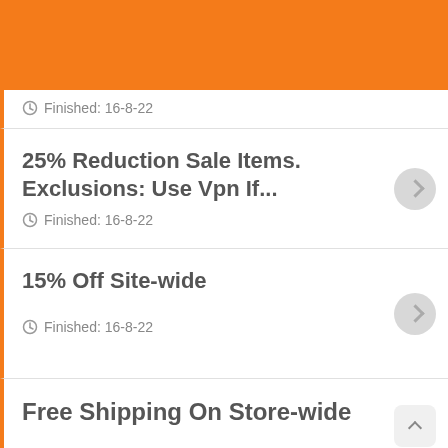Finished: 16-8-22
25% Reduction Sale Items. Exclusions: Use Vpn If… Finished: 16-8-22
15% Off Site-wide Finished: 16-8-22
Free Shipping On Store-wide